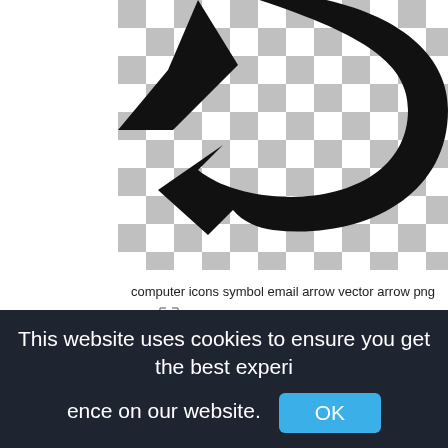[Figure (illustration): A black silhouette of an arrow icon (curved, pointing left/back) displayed on a grey and white checkerboard transparent background, typical of PNG preview. Image is cropped at top.]
computer icons symbol email arrow vector arrow png
512x512px
This website uses cookies to ensure you get the best experience on our website. OK